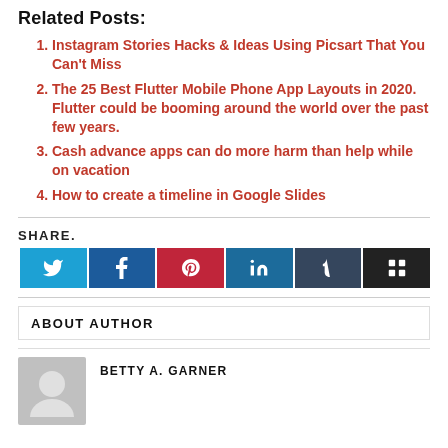Related Posts:
Instagram Stories Hacks & Ideas Using Picsart That You Can't Miss
The 25 Best Flutter Mobile Phone App Layouts in 2020. Flutter could be booming around the world over the past few years.
Cash advance apps can do more harm than help while on vacation
How to create a timeline in Google Slides
SHARE.
[Figure (other): Six social media share buttons: Twitter (light blue), Facebook (dark blue), Pinterest (red), LinkedIn (medium blue), Tumblr (dark slate), and a grid/more button (black)]
ABOUT AUTHOR
BETTY A. GARNER